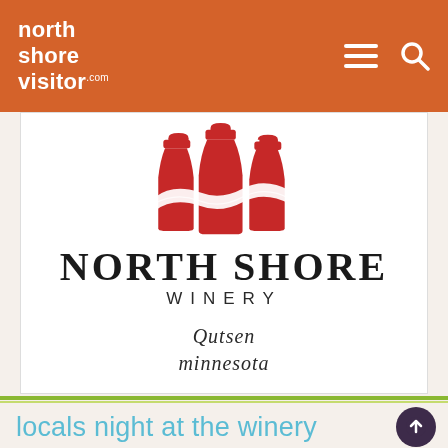north shore visitor .com
[Figure (logo): North Shore Winery logo: three red wine bottles with a white wavy ribbon across them, text 'NORTH SHORE WINERY' in bold serif below, and 'Lutsen Minnesota' in italic script beneath]
locals night at the winery